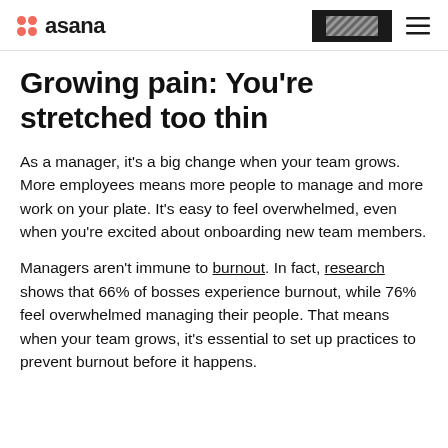asana
Growing pain: You're stretched too thin
As a manager, it's a big change when your team grows. More employees means more people to manage and more work on your plate. It's easy to feel overwhelmed, even when you're excited about onboarding new team members.
Managers aren't immune to burnout. In fact, research shows that 66% of bosses experience burnout, while 76% feel overwhelmed managing their people. That means when your team grows, it's essential to set up practices to prevent burnout before it happens.